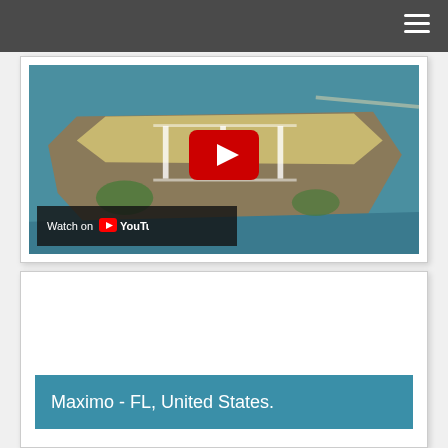[Figure (screenshot): YouTube embedded video thumbnail showing an aerial photograph of a coastal Florida location with a runway and peninsula visible. A red YouTube play button is centered on the image. A 'Watch on YouTube' bar appears in the bottom-left corner of the video thumbnail.]
Maximo - FL, United States.